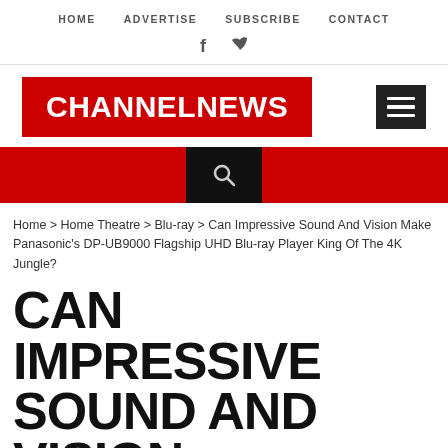HOME   ADVERTISE   SUBSCRIBE   CONTACT
[Figure (logo): Social media icons: Facebook (f) and Twitter (bird)]
[Figure (logo): ChannelNews logo: white bold text on red background rectangle, with hamburger menu icon to the right]
[Figure (other): Red navigation bar with black search box in center containing a magnifying glass icon]
Home > Home Theatre > Blu-ray > Can Impressive Sound And Vision Make Panasonic's DP-UB9000 Flagship UHD Blu-ray Player King Of The 4K Jungle?
CAN IMPRESSIVE SOUND AND VISION